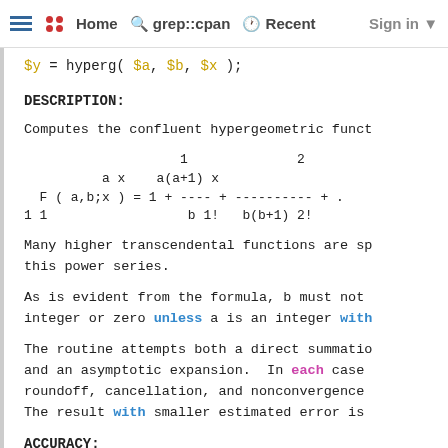Home  grep::cpan  Recent  Sign in
$y = hyperg( $a, $b, $x );
DESCRIPTION:
Computes the confluent hypergeometric funct
Many higher transcendental functions are special cases of this power series.
As is evident from the formula, b must not be a negative integer or zero unless a is an integer with
The routine attempts both a direct summation and an asymptotic expansion.  In each case roundoff, cancellation, and nonconvergence The result with smaller estimated error is
ACCURACY:
Tested at random points (a, b, x), all thre